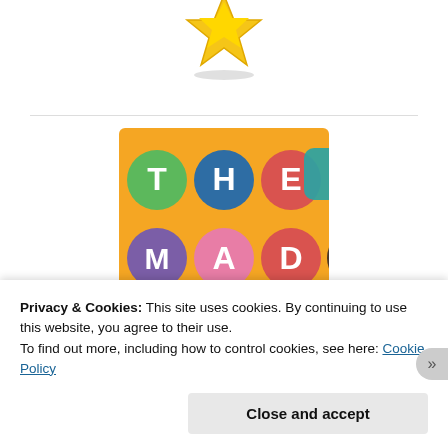[Figure (logo): Partial gold star/badge award logo visible at top of page, cropped]
[Figure (logo): The MADS Nominated 2016 badge — colorful grid of letters T, H, E, star, M, A, D, S on yellow background with teal NOMINATED! banner and 2016 below]
Privacy & Cookies: This site uses cookies. By continuing to use this website, you agree to their use.
To find out more, including how to control cookies, see here: Cookie Policy
Close and accept